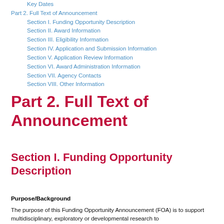Key Dates
Part 2. Full Text of Announcement
Section I. Funding Opportunity Description
Section II. Award Information
Section III. Eligibility Information
Section IV. Application and Submission Information
Section V. Application Review Information
Section VI. Award Administration Information
Section VII. Agency Contacts
Section VIII. Other Information
Part 2. Full Text of Announcement
Section I. Funding Opportunity Description
Purpose/Background
The purpose of this Funding Opportunity Announcement (FOA) is to support multidisciplinary, exploratory or developmental research to